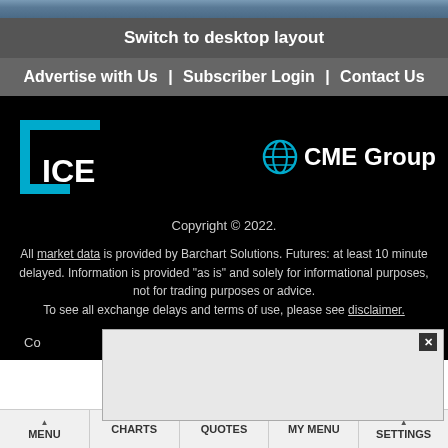Switch to desktop layout
Advertise with Us | Subscriber Login | Contact Us
[Figure (logo): ICE (Intercontinental Exchange) logo — white bracket with 'ICE' text in white on black background]
[Figure (logo): CME Group logo — globe icon in cyan/blue and 'CME Group' text in white on black background]
Copyright © 2022.
All market data is provided by Barchart Solutions. Futures: at least 10 minute delayed. Information is provided "as is" and solely for informational purposes, not for trading purposes or advice. To see all exchange delays and terms of use, please see disclaimer.
Co...nt
MENU | CHARTS | QUOTES | MY MENU | SETTINGS